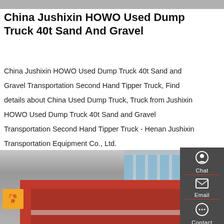[Figure (photo): Top partial image strip, grey/dark, appears to be top of a truck or outdoor scene]
China Jushixin HOWO Used Dump Truck 40t Sand And Gravel
China Jushixin HOWO Used Dump Truck 40t Sand and Gravel Transportation Second Hand Tipper Truck, Find details about China Used Dump Truck, Truck from Jushixin HOWO Used Dump Truck 40t Sand and Gravel Transportation Second Hand Tipper Truck - Henan Jushixin Transportation Equipment Co., Ltd.
[Figure (infographic): Sidebar widget with Chat, Email, Contact, Top navigation icons on dark grey background]
[Figure (photo): Get a Quote orange button]
[Figure (photo): Bottom photo showing red dump truck and building in background]